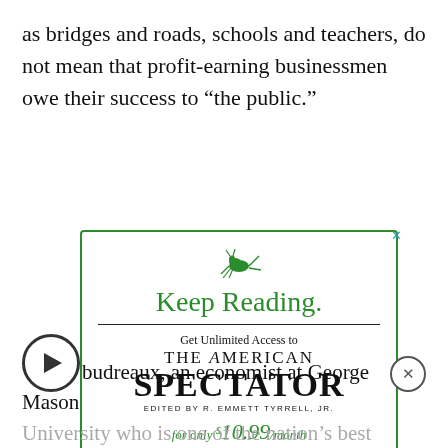as bridges and roads, schools and teachers, do not mean that profit-earning businessmen owe their success to “the public.”
[Figure (infographic): Advertisement box with green border for The American Spectator magazine. Contains a cricket/grasshopper logo, 'Keep Reading.' heading in green, a divider line, 'Get Unlimited Access to', 'THE AMERICAN SPECTATOR' in large serif type, 'EDITED BY R. EMMETT TYRRELL, JR.' and price 'for only $10.99/month' in green italic.]
budreaux, an economist at George Mason University who is one of the nation’s best